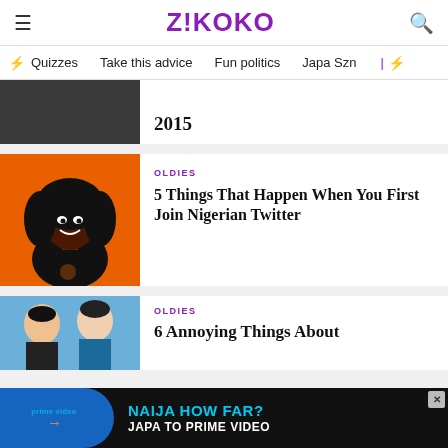Z!KOKO
Quizzes | Take this advice | Fun politics | Japa Szn
[Figure (photo): Partial image of a person in a dark t-shirt, cropped at top]
2015
[Figure (photo): Woman with curly hair smiling in front of orange background]
OLDIES
5 Things That Happen When You First Join Nigerian Twitter
[Figure (photo): Drama/telenovela style photo with two people]
OLDIES
6 Annoying Things About
[Figure (infographic): Prime Video ad banner: NAIJA HOW FAR? JAPA TO PRIME VIDEO]